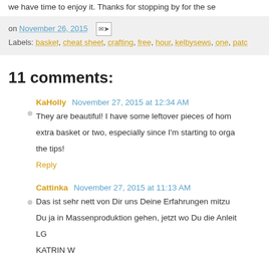we have time to enjoy it. Thanks for stopping by for the se
on November 26, 2015  [email icon]  Labels: basket, cheat sheet, crafting, free, hour, kelbysews, one, patc
11 comments:
KaHolly  November 27, 2015 at 12:34 AM
They are beautiful! I have some leftover pieces of hom extra basket or two, especially since I'm starting to orga the tips!
Reply
Cattinka  November 27, 2015 at 11:13 AM
Das ist sehr nett von Dir uns Deine Erfahrungen mitzu Du ja in Massenproduktion gehen, jetzt wo Du die Anleit LG
KATRIN W